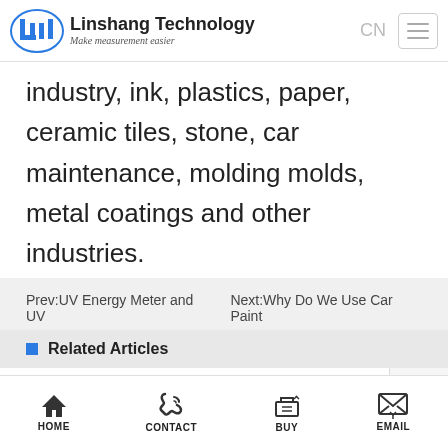Linshang Technology — Make measurement easier
industry, ink, plastics, paper, ceramic tiles, stone, car maintenance, molding molds, metal coatings and other industries.
Prev:UV Energy Meter and UV   Next:Why Do We Use Car Paint
Related Articles
The PC Software Function of Marble Gloss Meter
The Maintenance of Linshang Gloss Meter
HOME   CONTACT   BUY   EMAIL